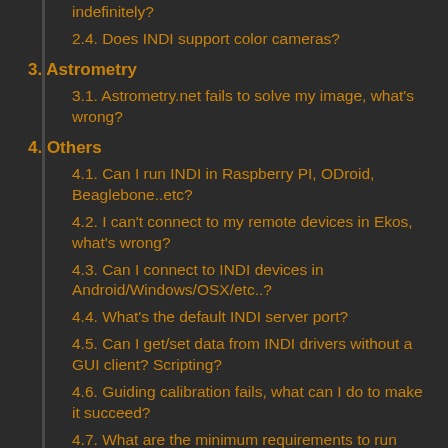indefinitely?
2.4. Does INDI support color cameras?
3. Astrometry
3.1. Astrometry.net fails to solve my image, what's wrong?
4. Others
4.1. Can I run INDI in Raspberry PI, ODroid, Beaglebone..etc?
4.2. I can't connect to my remote devices in Ekos, what's wrong?
4.3. Can I connect to INDI devices in Android/Windows/OSX/etc..?
4.4. What's the default INDI server port?
4.5. Can I get/set data from INDI drivers without a GUI client? Scripting?
4.6. Guiding calibration fails, what can I do to make it succeed?
4.7. What are the minimum requirements to run INDI?